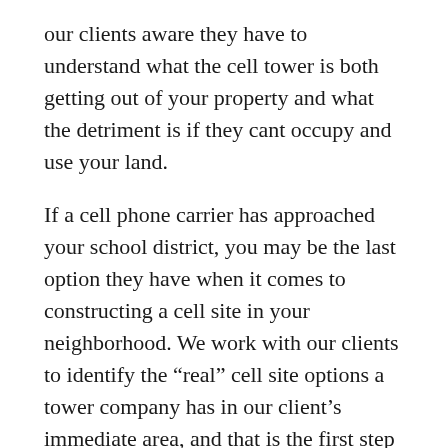our clients aware they have to understand what the cell tower is both getting out of your property and what the detriment is if they cant occupy and use your land.
If a cell phone carrier has approached your school district, you may be the last option they have when it comes to constructing a cell site in your neighborhood. We work with our clients to identify the “real” cell site options a tower company has in our client’s immediate area, and that is the first step in making the best deal for our clients.
Vertical Consultants works with schools of all types and sizes across the United States in making sure they not only get the best cell tower rent possible, but that they get a lease which protects them and their